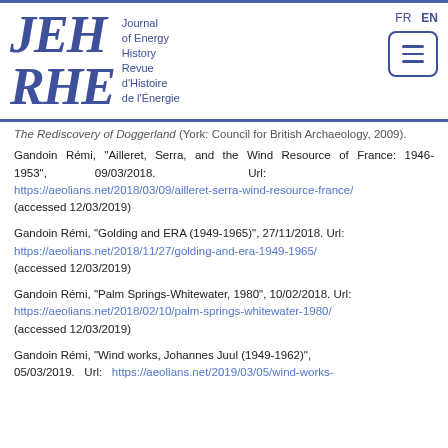[Figure (logo): JEH RHE Journal of Energy History Revue d'Histoire de l'Énergie logo with FR/EN language switcher and hamburger menu]
The Rediscovery of Doggerland (York: Council for British Archaeology, 2009).
Gandoin Rémi, "Ailleret, Serra, and the Wind Resource of France: 1946-1953", 09/03/2018. Url: https://aeolians.net/2018/03/09/ailleret-serra-wind-resource-france/ (accessed 12/03/2019)
Gandoin Rémi, "Golding and ERA (1949-1965)", 27/11/2018. Url: https://aeolians.net/2018/11/27/golding-and-era-1949-1965/ (accessed 12/03/2019)
Gandoin Rémi, "Palm Springs-Whitewater, 1980", 10/02/2018. Url: https://aeolians.net/2018/02/10/palm-springs-whitewater-1980/ (accessed 12/03/2019)
Gandoin Rémi, "Wind works, Johannes Juul (1949-1962)", 05/03/2019. Url: https://aeolians.net/2019/03/05/wind-works-...